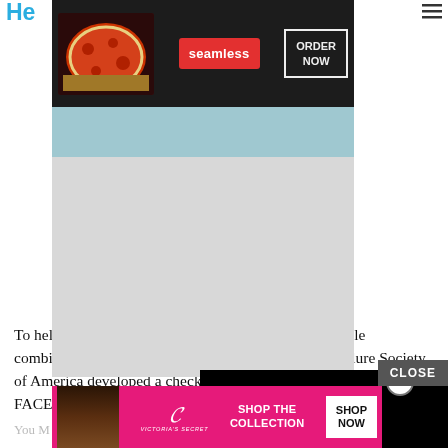He
[Figure (screenshot): Seamless food delivery ad banner with pizza image, 'seamless' red badge, and 'ORDER NOW' button on dark background]
[Figure (screenshot): Gray advertisement placeholder box with light blue-gray band]
To help both doctors and patients quickly spot a possible combination of heart failure s[ymptoms, the Heart] Failure Society of America devel[oped a checklist remembered] by the acronym FACES.
[Figure (screenshot): Black video overlay player covering part of the text]
F = Fatigue. When the heart can[not pump enough oxygen-] rich blood to meet the body's energy needs, a general feeling of tiredness or fatigue sets in.
[Figure (screenshot): Victoria's Secret advertisement banner on pink background with model, VS logo, 'SHOP THE COLLECTION' text and 'SHOP NOW' button]
You M[ay Also Like]